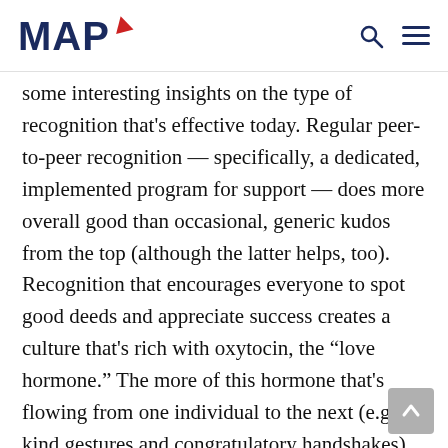MAP
some interesting insights on the type of recognition that's effective today. Regular peer-to-peer recognition — specifically, a dedicated, implemented program for support — does more overall good than occasional, generic kudos from the top (although the latter helps, too). Recognition that encourages everyone to spot good deeds and appreciate success creates a culture that's rich with oxytocin, the “love hormone.” The more of this hormone that's flowing from one individual to the next (e.g., kind gestures and congratulatory handshakes), the more everyone feels good,